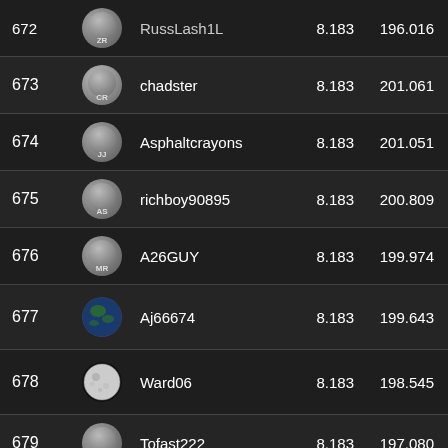| Rank | Avatar | Username | Score | Total |
| --- | --- | --- | --- | --- |
| 672 | ZR | RussLash1L | 8.183 | 196.016 |
| 673 | CR | chadster | 8.183 | 201.061 |
| 674 | JJ | Asphaltcrayons | 8.183 | 201.051 |
| 675 | AS | richboy90895 | 8.183 | 200.809 |
| 676 | MR | A26GUY | 8.183 | 199.974 |
| 677 | [img] | Aj66674 | 8.183 | 199.643 |
| 678 | [img] | Ward06 | 8.183 | 198.545 |
| 679 | BB | Tofast222 | 8.183 | 197.080 |
| 680 | DS | Dsmith59 | 8.183 | 196.787 |
| 681 | [img] | jbarczy930 | 8.183 | 195.143 |